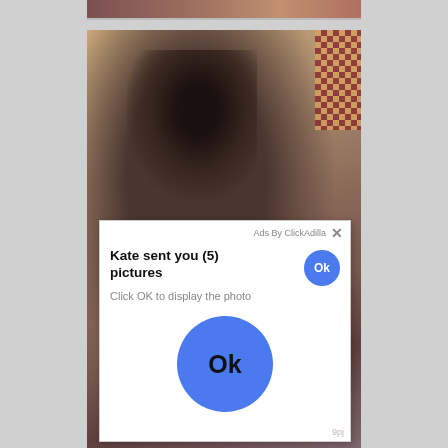[Figure (screenshot): Screenshot of a webpage showing a photo of a person partially obscured by an ad overlay popup. The popup reads 'Ads By ClickAdilla' with an X close button, then 'Kate sent you (5) pictures' with a small blue Ok button, 'Click OK to display the photo', and a large blue Ok button in the center of the panel. The page has grey side margins.]
Ads By ClickAdilla
Kate sent you (5) pictures
Click OK to display the photo
Ok
Ok
9pj